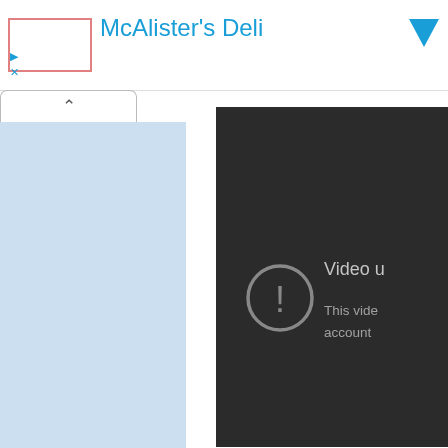[Figure (screenshot): Screenshot of a web browser showing a McAlister's Deli advertisement in the top bar, a browser tab with an up-arrow caret, a light blue sidebar panel on the left, a white middle column, and a dark video player panel on the right showing a 'Video unavailable' error message. Below the video panel are partial text lines reading 'MASS lottery winning num', 'MASS lottery Lucky For Life, Ma', and 'Mon, Jun 4, 2015'.]